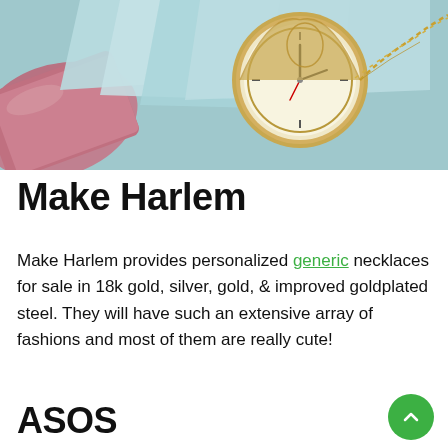[Figure (photo): Photo of a pocket watch with gold chain resting on light blue envelopes and a pink/rose metallic clutch bag, styled flat-lay.]
Make Harlem
Make Harlem provides personalized generic necklaces for sale in 18k gold, silver, gold, & improved goldplated steel. They will have such an extensive array of fashions and most of them are really cute!
ASOS